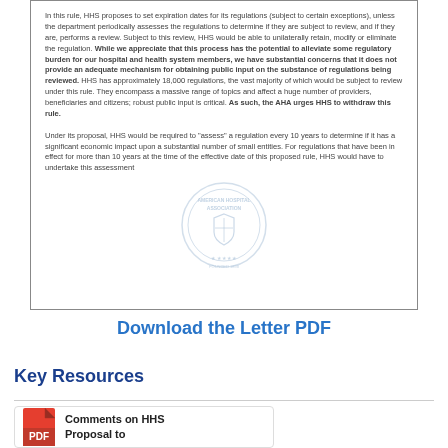In this rule, HHS proposes to set expiration dates for its regulations (subject to certain exceptions), unless the department periodically assesses the regulations to determine if they are subject to review, and if they are, performs a review. Subject to this review, HHS would be able to unilaterally retain, modify or eliminate the regulation. While we appreciate that this process has the potential to alleviate some regulatory burden for our hospital and health system members, we have substantial concerns that it does not provide an adequate mechanism for obtaining public input on the substance of regulations being reviewed. HHS has approximately 18,000 regulations, the vast majority of which would be subject to review under this rule. They encompass a massive range of topics and affect a huge number of providers, beneficiaries and citizens; robust public input is critical. As such, the AHA urges HHS to withdraw this rule.

Under its proposal, HHS would be required to "assess" a regulation every 10 years to determine if it has a significant economic impact upon a substantial number of small entities. For regulations that have been in effect for more than 10 years at the time of the effective date of this proposed rule, HHS would have to undertake this assessment
[Figure (logo): American Hospital Association seal/logo, circular watermark style in light blue/gray]
Download the Letter PDF
Key Resources
Comments on HHS Proposal to